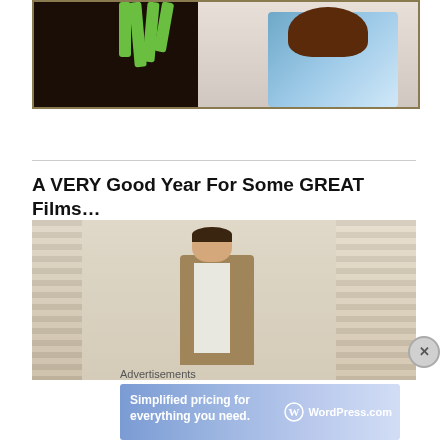[Figure (photo): Top portion of a movie still showing a witch's green clawed hand and a woman in a blue gingham dress (Dorothy from Wizard of Oz), against a dark background]
A VERY Good Year For Some GREAT Films…
[Figure (photo): Movie still from The Graduate showing a young man in a tan/brown corduroy jacket and open-collar white shirt standing in a room with venetian blinds]
Advertisements
[Figure (screenshot): WordPress.com advertisement banner with gradient blue background reading 'Simplified pricing for everything you need.' with WordPress.com logo]